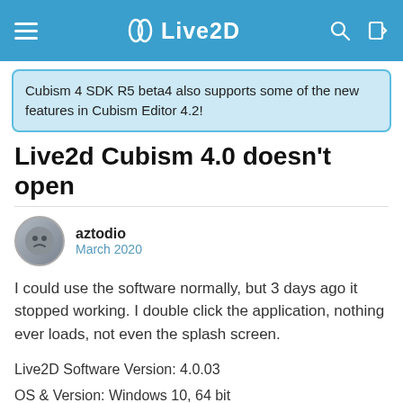Live2D
Cubism 4 SDK R5 beta4 also supports some of the new features in Cubism Editor 4.2!
Live2d Cubism 4.0 doesn't open
aztodio
March 2020
I could use the software normally, but 3 days ago it stopped working. I double click the application, nothing ever loads, not even the splash screen.
Live2D Software Version: 4.0.03
OS & Version: Windows 10, 64 bit
PC Model: desktop, Processor AMD Ryzen 5 2400G
Graphics Specifications: GeForce GTX 1050
Memory: 16 GB